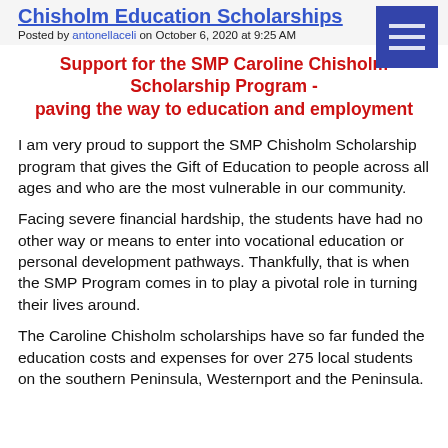Chisholm Education Scholarships
Posted by antonellaceli on October 6, 2020 at 9:25 AM
Support for the SMP Caroline Chisholm Scholarship Program - paving the way to education and employment
I am very proud to support the SMP Chisholm Scholarship program that gives the Gift of Education to people across all ages and who are the most vulnerable in our community.
Facing severe financial hardship, the students have had no other way or means to enter into vocational education or personal development pathways. Thankfully, that is when the SMP Program comes in to play a pivotal role in turning their lives around.
The Caroline Chisholm scholarships have so far funded the education costs and expenses for over 275 local students on the southern Peninsula, Westernport and the Peninsula.